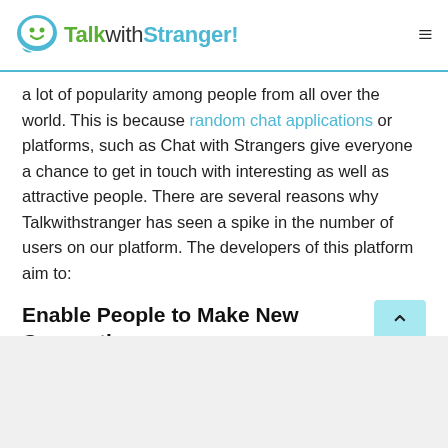TalkwithStranger!
a lot of popularity among people from all over the world. This is because random chat applications or platforms, such as Chat with Strangers give everyone a chance to get in touch with interesting as well as attractive people. There are several reasons why Talkwithstranger has seen a spike in the number of users on our platform. The developers of this platform aim to:
Enable People to Make New Connections
In today's time, with the pandemic taking over most of our social lives, we have been forced to stay confined to our